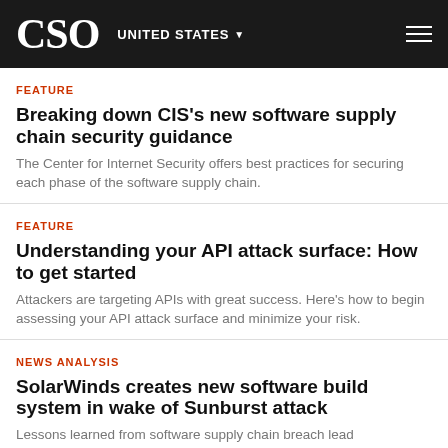CSO UNITED STATES
FEATURE
Breaking down CIS's new software supply chain security guidance
The Center for Internet Security offers best practices for securing each phase of the software supply chain.
FEATURE
Understanding your API attack surface: How to get started
Attackers are targeting APIs with great success. Here's how to begin assessing your API attack surface and minimize your risk.
NEWS ANALYSIS
SolarWinds creates new software build system in wake of Sunburst attack
Lessons learned from software supply chain breach lead